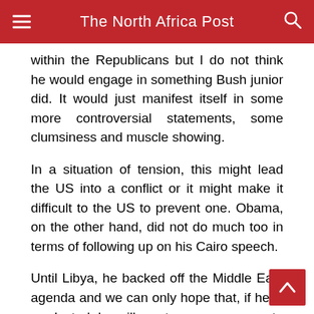The North Africa Post
within the Republicans but I do not think he would engage in something Bush junior did. It would just manifest itself in some more controversial statements, some clumsiness and muscle showing.
In a situation of tension, this might lead the US into a conflict or it might make it difficult to the US to prevent one. Obama, on the other hand, did not do much too in terms of following up on his Cairo speech.
Until Libya, he backed off the Middle East agenda and we can only hope that, if he is re-elected, he will muster more courage to face off Israeli intransigence and play a more forceful but neutral peace broker between the Palestinians and Israel.